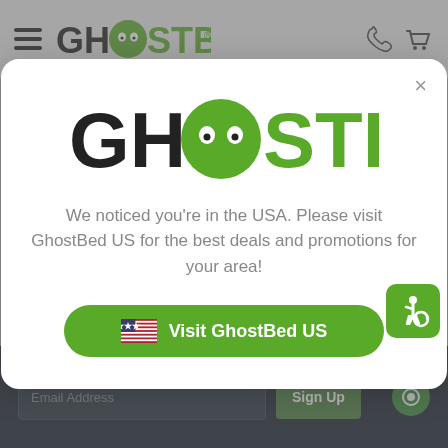[Figure (screenshot): GhostBed website navigation bar with hamburger menu, GhostBed logo, phone icon, and cart icon]
[Figure (screenshot): Modal popup with GhostBed logo, text about visiting GhostBed US, and a green Visit GhostBed US button with US flag]
We noticed you're in the USA. Please visit GhostBed US for the best deals and promotions for your area!
[Figure (screenshot): Dark footer area with Email Address input field and Sign Up button, plus green chat bubble icon]
[Figure (logo): GhostBed accessibility icon (wheelchair) in green rounded square]